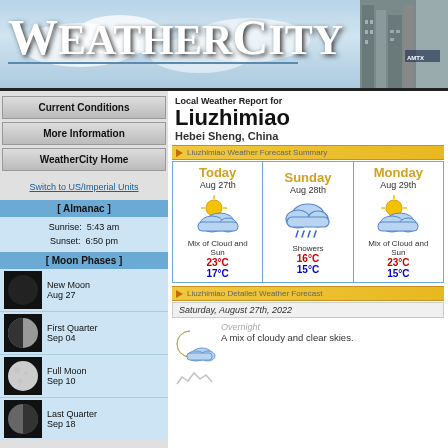WeatherCity
Current Conditions
More Information
WeatherCity Home
Switch to US/Imperial Units
[ Almanac ]
Sunrise: 5:43 am
Sunset: 6:50 pm
[ Moon Phases ]
New Moon Aug 27
First Quarter Sep 04
Full Moon Sep 10
Last Quarter Sep 18
Local Weather Report for Liuzhimiao
Hebei Sheng, China
Liuzhimiao Weather Forecast Summary
| Today Aug 27th | Sunday Aug 28th | Monday Aug 29th |
| --- | --- | --- |
| Mix of Cloud and Sun | Showers | Mix of Cloud and Sun |
| 23°C / 17°C | 16°C / 15°C | 23°C / 15°C |
Liuzhimiao Detailed Weather Forecast
Saturday, August 27th, 2022
Overnight — A mix of cloudy and clear skies.